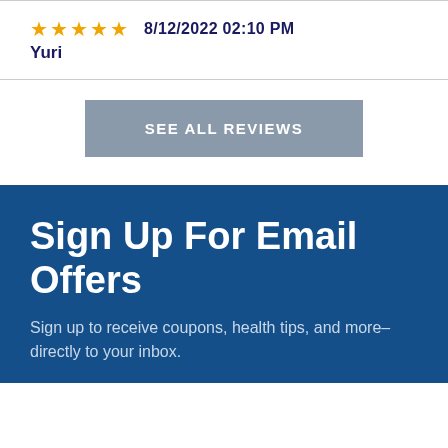★★★★★  8/12/2022 02:10 PM
Yuri
SEE ALL REVIEWS
Sign Up For Email Offers
Sign up to receive coupons, health tips, and more–directly to your inbox.